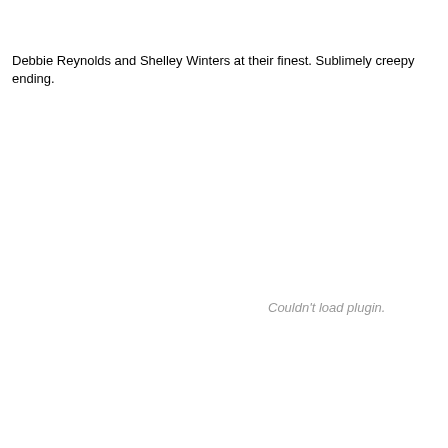Debbie Reynolds and Shelley Winters at their finest. Sublimely creepy ending.
Couldn't load plugin.